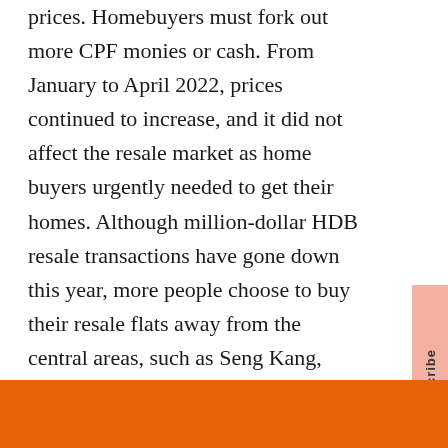prices. Homebuyers must fork out more CPF monies or cash. From January to April 2022, prices continued to increase, and it did not affect the resale market as home buyers urgently needed to get their homes. Although million-dollar HDB resale transactions have gone down this year, more people choose to buy their resale flats away from the central areas, such as Seng Kang, Punggol, Tampines, Yishun and Choa Chu Kang. These are the top 5 towns based on transaction volume.